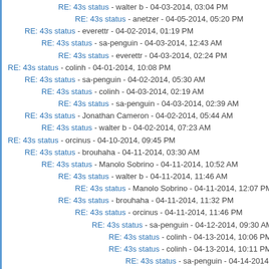RE: 43s status - walter b - 04-03-2014, 03:04 PM
RE: 43s status - anetzer - 04-05-2014, 05:20 PM
RE: 43s status - everettr - 04-02-2014, 01:19 PM
RE: 43s status - sa-penguin - 04-03-2014, 12:43 AM
RE: 43s status - everettr - 04-03-2014, 02:24 PM
RE: 43s status - colinh - 04-01-2014, 10:08 PM
RE: 43s status - sa-penguin - 04-02-2014, 05:30 AM
RE: 43s status - colinh - 04-03-2014, 02:19 AM
RE: 43s status - sa-penguin - 04-03-2014, 02:39 AM
RE: 43s status - Jonathan Cameron - 04-02-2014, 05:44 AM
RE: 43s status - walter b - 04-02-2014, 07:23 AM
RE: 43s status - orcinus - 04-10-2014, 09:45 PM
RE: 43s status - brouhaha - 04-11-2014, 03:30 AM
RE: 43s status - Manolo Sobrino - 04-11-2014, 10:52 AM
RE: 43s status - walter b - 04-11-2014, 11:46 AM
RE: 43s status - Manolo Sobrino - 04-11-2014, 12:07 PM
RE: 43s status - brouhaha - 04-11-2014, 11:32 PM
RE: 43s status - orcinus - 04-11-2014, 11:46 PM
RE: 43s status - sa-penguin - 04-12-2014, 09:30 AM
RE: 43s status - colinh - 04-13-2014, 10:06 PM
RE: 43s status - colinh - 04-13-2014, 10:11 PM
RE: 43s status - sa-penguin - 04-14-2014, 12:40 PM
RE: 43s status - anetzer - 04-11-2014, 12:01 PM
RE: 43s status - orcinus - 04-11-2014, 11:10 PM
RE: 43s status - brouhaha - 04-11-2014, 11:23 PM